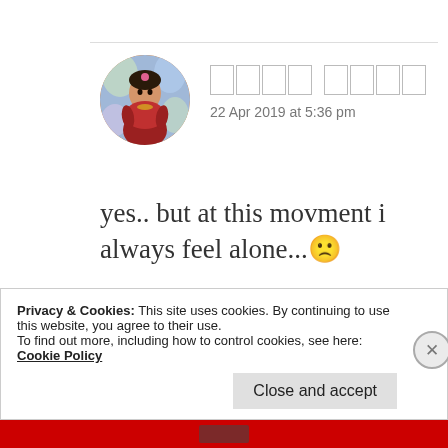[Figure (photo): Circular avatar image of a woman in traditional Indian attire with decorative background]
□□□□ □□□□
22 Apr 2019 at 5:36 pm
yes.. but at this movment i always feel alone...☹
★ Like
Privacy & Cookies: This site uses cookies. By continuing to use this website, you agree to their use.
To find out more, including how to control cookies, see here: Cookie Policy
Close and accept